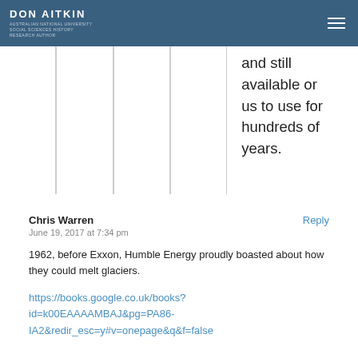DON AITKIN
and still available or us to use for hundreds of years.
Chris Warren
June 19, 2017 at 7:34 pm
1962, before Exxon, Humble Energy proudly boasted about how they could melt glaciers.
https://books.google.co.uk/books?id=k00EAAAAMBAJ&pg=PA86-IA2&redir_esc=y#v=onepage&q&f=false